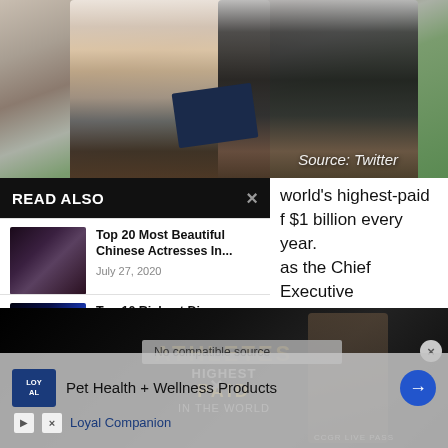[Figure (photo): Two people posing together outdoors at what appears to be a graduation, one holding a diploma; green grass in background. Caption reads 'Source: Twitter']
Source: Twitter
READ ALSO
[Figure (photo): Thumbnail image of woman with dark hair for article 'Top 20 Most Beautiful Chinese Actresses In...']
Top 20 Most Beautiful Chinese Actresses In...
July 27, 2020
[Figure (photo): Thumbnail image of Disney fireworks for article 'Top 10 Richest Disney Stars In The...']
Top 10 Richest Disney Stars In The...
May 14, 2022
world's highest-paid
f $1 billion every year.
as the Chief Executive
technology company.
media.
erations in more than
No compatible source
[Figure (photo): Background advertisement image with text 'ATHLETE'S' and 'PAID' and 'IN THE WORLD' in gold letters on dark background, with an athlete figure]
Pet Health + Wellness Products
Loyal Companion